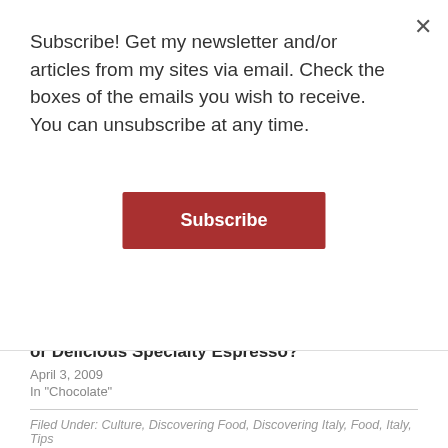Subscribe! Get my newsletter and/or articles from my sites via email. Check the boxes of the emails you wish to receive. You can unsubscribe at any time.
Subscribe
or Delicious Specialty Espresso?
April 3, 2009
In "Chocolate"
Filed Under: Culture, Discovering Food, Discovering Italy, Food, Italy, Tips
« How to Avoid a Pickpocket
Pickled Eggplant under Oil – Melanzane Sott'Olio »
COMMENTS